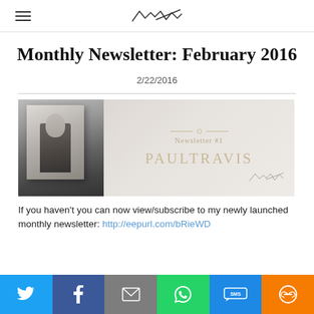[Logo/Signature mark — VBTAR]
Monthly Newsletter: February 2016
2/22/2016
[Figure (photo): Newsletter banner image for Paul Travis Newsletter #1. Shows a black and white portrait photo of a man on the left, and gold/tan text on a light marble-like background reading 'Newsletter #1' and 'PAULTRAVIS' with a signature watermark in the bottom right.]
If you haven't you can now view/subscribe to my newly launched monthly newsletter: http://eepurl.com/bRieWD
Social share bar: Twitter, Facebook, Email, WhatsApp, SMS, More